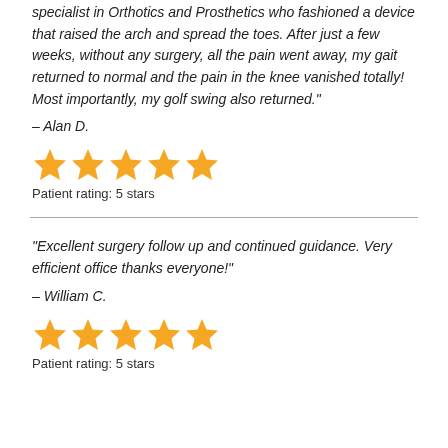specialist in Orthotics and Prosthetics who fashioned a device that raised the arch and spread the toes. After just a few weeks, without any surgery, all the pain went away, my gait returned to normal and the pain in the knee vanished totally! Most importantly, my golf swing also returned."
– Alan D.
[Figure (other): 5 orange star icons representing a 5-star patient rating]
Patient rating: 5 stars
"Excellent surgery follow up and continued guidance. Very efficient office thanks everyone!"
– William C.
[Figure (other): 5 orange star icons representing a 5-star patient rating]
Patient rating: 5 stars